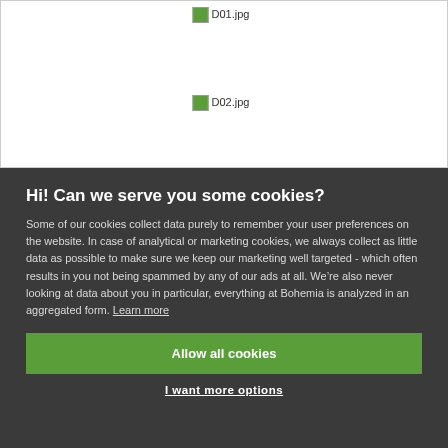[Figure (other): Broken image placeholder labeled D01.jpg]
[Figure (other): Broken image placeholder labeled D02.jpg]
Hi! Can we serve you some cookies?
Some of our cookies collect data purely to remember your user preferences on the website. In case of analytical or marketing cookies, we always collect as little data as possible to make sure we keep our marketing well targeted - which often results in you not being spammed by any of our ads at all. We’re also never looking at data about you in particular, everything at Bohemia is analyzed in an aggregated form. Learn more
Allow all cookies
I want more options